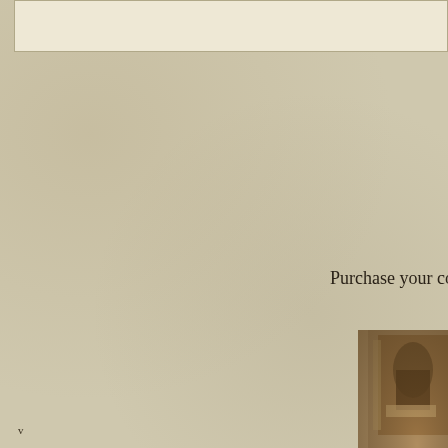[Figure (other): Top bordered box region with cream/beige background, partially visible at top of page]
Purchase your co
[Figure (photo): Sepia-toned historical photograph showing people gathered outside a building with ornate architecture, partially cropped at right edge]
v